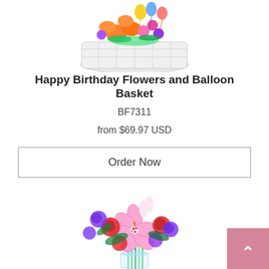[Figure (photo): Partial view of a colorful flower and balloon basket arrangement in a white wicker basket, showing tops of orange lilies, mixed flowers, and colorful balloons against a white background.]
Happy Birthday Flowers and Balloon Basket
BF7311
from $69.97 USD
Order Now
[Figure (photo): A vibrant bouquet featuring stargazer lilies (pink with white edges), red roses, purple lisianthus, and various mixed flowers in a clear glass vase with green stems visible. Rich red, purple, and pink color palette.]